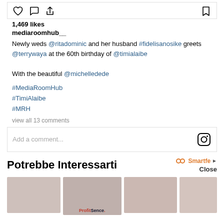[Figure (screenshot): Instagram post icons row: heart, comment, share icons on left; bookmark icon on right]
1,469 likes
mediaroomhub__
Newly weds @ritadominic and her husband #fidelisanosike greets @terrywaya at the 60th birthday of @timialaibe

With the beautiful @michelledede
#MediaRoomHub
#TimiAlaibe
#MRH
view all 13 comments
Add a comment...
Potrebbe Interessarti
[Figure (logo): Smartfeed logo with infinity symbol and Close button]
[Figure (photo): Three thumbnail images at the bottom including ProfitSence advertisement]